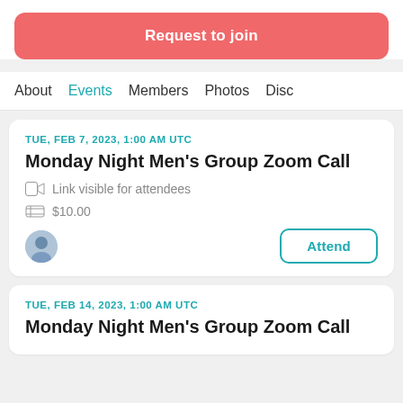Request to join
About   Events   Members   Photos   Disc
TUE, FEB 7, 2023, 1:00 AM UTC
Monday Night Men's Group Zoom Call
Link visible for attendees
$10.00
Attend
TUE, FEB 14, 2023, 1:00 AM UTC
Monday Night Men's Group Zoom Call